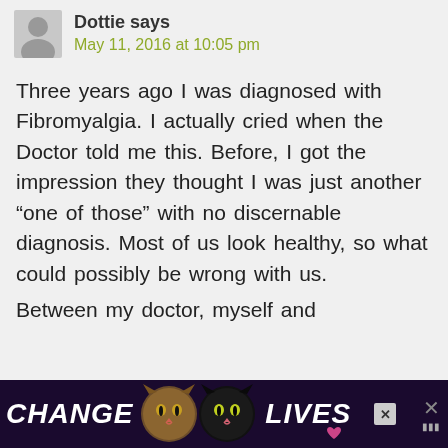Dottie says
May 11, 2016 at 10:05 pm
Three years ago I was diagnosed with Fibromyalgia. I actually cried when the Doctor told me this. Before, I got the impression they thought I was just another “one of those” with no discernable diagnosis. Most of us look healthy, so what could possibly be wrong with us.
Between my doctor, myself and
[Figure (screenshot): Advertisement banner at bottom showing 'CHANGE LIVES' with cat photos on dark purple/black background with close buttons]